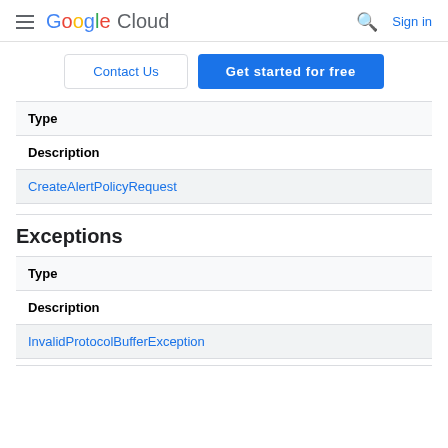Google Cloud — Sign in
Contact Us | Get started for free
| Type | Description |
| --- | --- |
| CreateAlertPolicyRequest |  |
Exceptions
| Type | Description |
| --- | --- |
| InvalidProtocolBufferException |  |